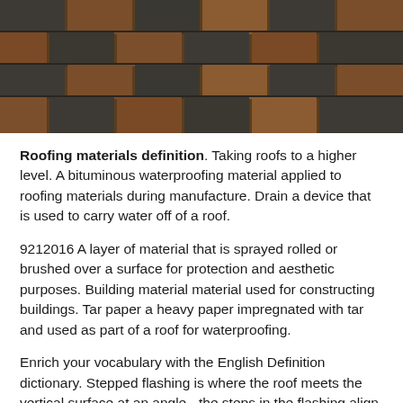[Figure (photo): Close-up photograph of roofing shingles showing a pattern of dark gray and brown/rust colored asphalt shingles arranged in overlapping rows.]
Roofing materials definition. Taking roofs to a higher level. A bituminous waterproofing material applied to roofing materials during manufacture. Drain a device that is used to carry water off of a roof.
921 2016 A layer of material that is sprayed rolled or brushed over a surface for protection and aesthetic purposes. Building material material used for constructing buildings. Tar paper a heavy paper impregnated with tar and used as part of a roof for waterproofing.
Enrich your vocabulary with the English Definition dictionary. Stepped flashing is where the roof meets the vertical surface at an angle - the steps in the flashing align with the joints of different courses in the